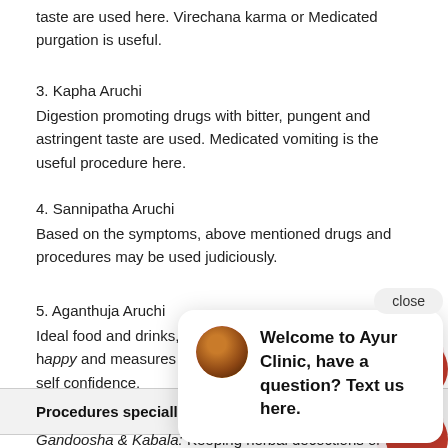taste are used here. Virechana karma or Medicated purgation is useful.
3. Kapha Aruchi
Digestion promoting drugs with bitter, pungent and astringent taste are used. Medicated vomiting is the useful procedure here.
4. Sannipatha Aruchi
Based on the symptoms, above mentioned drugs and procedures may be used judiciously.
5. Aganthuja Aruchi
Ideal food and drinks, mental happiness and measures to elevate self confidence.
Procedures specially useful for Aruchi
Gandoosha & Kabala: Keeping herbal decoctions or liquids inside mouth and gargling is very useful in anorexia.